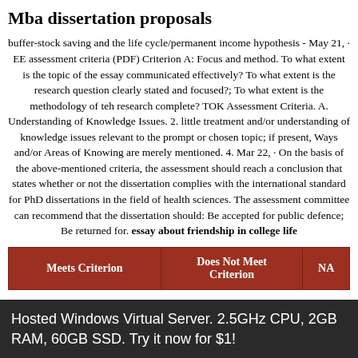Mba dissertation proposals
buffer-stock saving and the life cycle/permanent income hypothesis - May 21,  · EE assessment criteria (PDF) Criterion A: Focus and method. To what extent is the topic of the essay communicated effectively? To what extent is the research question clearly stated and focused?; To what extent is the methodology of teh research complete? TOK Assessment Criteria. A. Understanding of Knowledge Issues. 2. little treatment and/or understanding of knowledge issues relevant to the prompt or chosen topic; if present, Ways and/or Areas of Knowing are merely mentioned. 4. Mar 22,  · On the basis of the above-mentioned criteria, the assessment should reach a conclusion that states whether or not the dissertation complies with the international standard for PhD dissertations in the field of health sciences. The assessment committee can recommend that the dissertation should: Be accepted for public defence; Be returned for. essay about friendship in college life
| Meets Criterion | Does Not Meet Criterion | NA |
| --- | --- | --- |
Hosted Windows Virtual Server. 2.5GHz CPU, 2GB RAM, 60GB SSD. Try it now for $1!